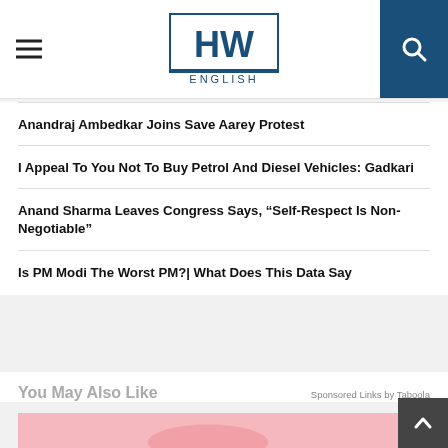HW ENGLISH
Anandraj Ambedkar Joins Save Aarey Protest
I Appeal To You Not To Buy Petrol And Diesel Vehicles: Gadkari
Anand Sharma Leaves Congress Says, “Self-Respect Is Non-Negotiable”
Is PM Modi The Worst PM?| What Does This Data Say
You May Also Like
Sponsored Links by Taboola
[Figure (photo): Pink background with a hand showing red nail polish, partial view at the bottom of the page]